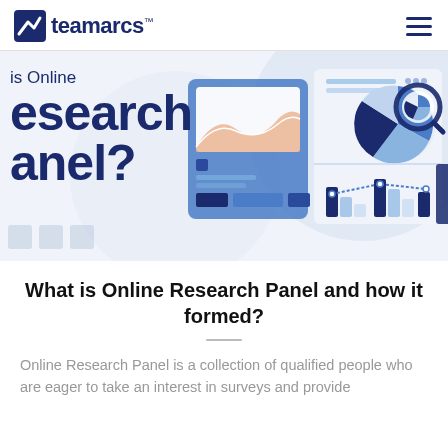teamarcs™
[Figure (illustration): Hero banner showing partial text 'is Online Research Panel?' in large dark navy bold font on left, with a decorative illustration on the right showing dashboard analytics graphics including charts, pie charts, bar charts, and data visualization elements on a light blue background.]
What is Online Research Panel and how it formed?
Online Research Panel is a collection of qualified people who are eager to take an interest in surveys and provide